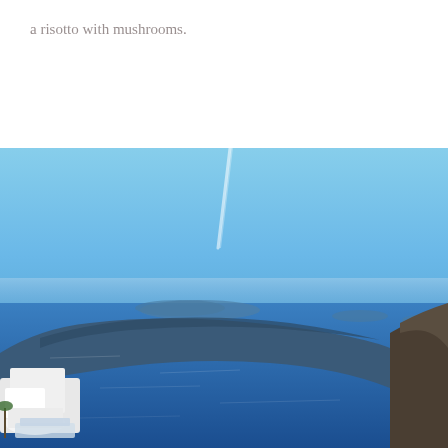a risotto with mushrooms.
[Figure (photo): Aerial panoramic view of Santorini caldera, Greece. Blue sky above, deep blue Aegean Sea below with volcanic islands in the distance. White-washed buildings visible in the lower left corner on the cliff edge. Rocky cliffs on the right side.]